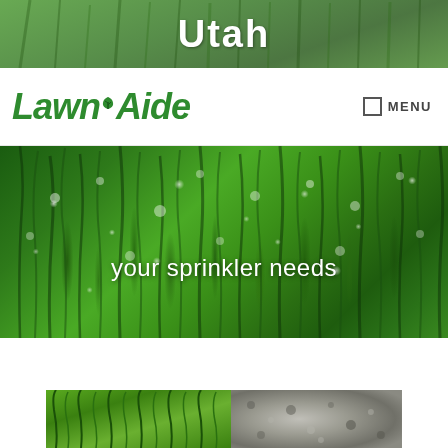Utah
[Figure (logo): LawnAide company logo in green italic bold font with a small leaf icon above the letter A]
MENU
[Figure (photo): Close-up photo of wet green grass blades with water droplets, serving as hero banner background]
your sprinkler needs
[Figure (photo): Photo showing green grass lawn next to gravel/dirt surface]